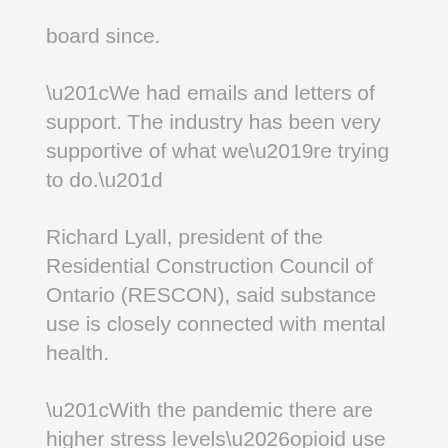board since.
“We had emails and letters of support. The industry has been very supportive of what we’re trying to do.”
Richard Lyall, president of the Residential Construction Council of Ontario (RESCON), said substance use is closely connected with mental health.
“With the pandemic there are higher stress levels…opioid use has gone way up during the pandemic and that’s a real problem,” said Lyall. “There’s been an across-the-board increase in overdoses and substance use issues.